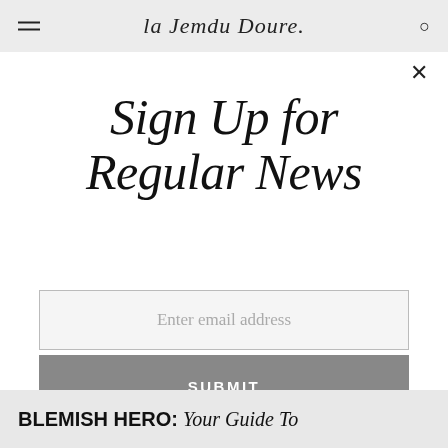la Jemdu Dowe
Sign Up for Regular News
Enter email address
SUBMIT
BLEMISH HERO: Your Guide To